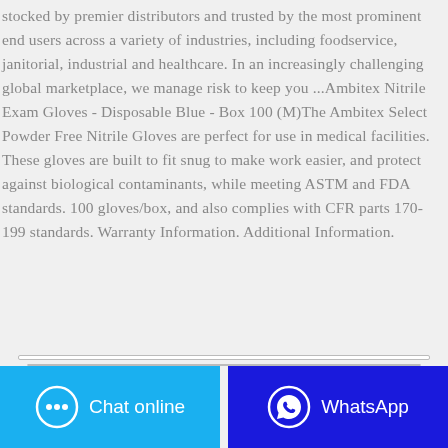stocked by premier distributors and trusted by the most prominent end users across a variety of industries, including foodservice, janitorial, industrial and healthcare. In an increasingly challenging global marketplace, we manage risk to keep you ...Ambitex Nitrile Exam Gloves - Disposable Blue - Box 100 (M)The Ambitex Select Powder Free Nitrile Gloves are perfect for use in medical facilities. These gloves are built to fit snug to make work easier, and protect against biological contaminants, while meeting ASTM and FDA standards. 100 gloves/box, and also complies with CFR parts 170-199 standards. Warranty Information. Additional Information.
E-mail
s@sanrand.com
Chat online
WhatsApp